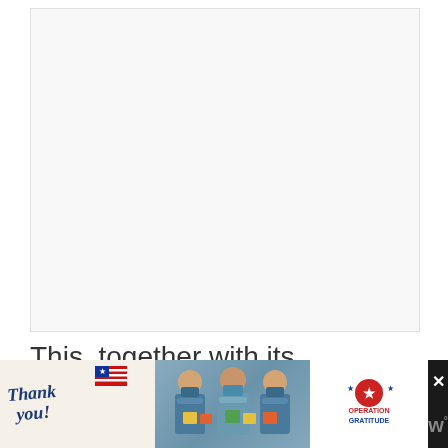[Figure (other): Large white/light gray blank rectangular area, likely a placeholder for an image or map screenshot]
This, together with its excellent search functionally, makes Google Maps f
[Figure (photo): Advertisement banner at bottom: Thank You card with American flag on left, photo of three masked healthcare workers in middle, Operation Gratitude logo on right, close button and W° branding on far right, on dark background]